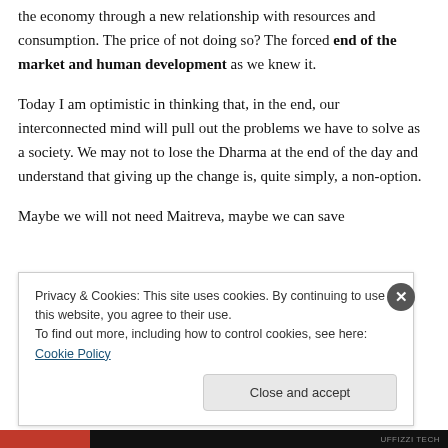the economy through a new relationship with resources and consumption. The price of not doing so? The forced end of the market and human development as we knew it.
Today I am optimistic in thinking that, in the end, our interconnected mind will pull out the problems we have to solve as a society. We may not to lose the Dharma at the end of the day and understand that giving up the change is, quite simply, a non-option.
Maybe we will not need Maitreva, maybe we can save
Privacy & Cookies: This site uses cookies. By continuing to use this website, you agree to their use.
To find out more, including how to control cookies, see here: Cookie Policy
Close and accept